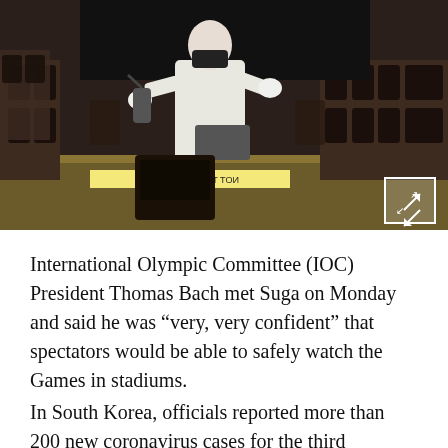[Figure (photo): A person in white protective gear disinfecting or cleaning seats in a venue/theater. Seats are dark brown leather arranged in rows. A banner reading 'NOT TO BE OCCUPIED' is visible on one seat. An expand/fullscreen icon is overlaid in the bottom right corner of the image.]
International Olympic Committee (IOC) President Thomas Bach met Suga on Monday and said he was “very, very confident” that spectators would be able to safely watch the Games in stadiums.
In South Korea, officials reported more than 200 new coronavirus cases for the third consecutive day on